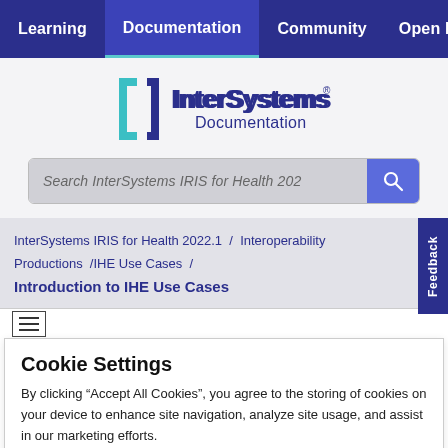Learning  Documentation  Community  Open Excha
[Figure (logo): InterSystems Documentation logo with teal bracket icon and dark blue text]
Search InterSystems IRIS for Health 202
InterSystems IRIS for Health 2022.1 / Interoperability Productions / IHE Use Cases /
Introduction to IHE Use Cases
Cookie Settings
By clicking “Accept All Cookies”, you agree to the storing of cookies on your device to enhance site navigation, analyze site usage, and assist in our marketing efforts.